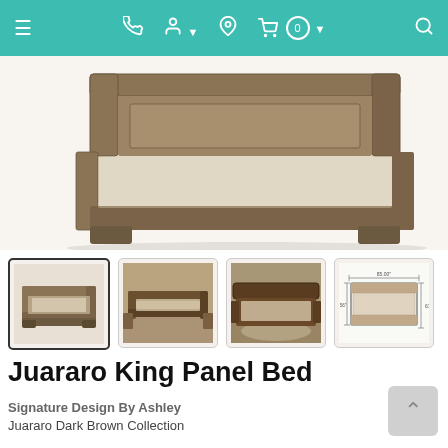Navigation bar with hamburger menu, phone, account, location, cart (0), and search icons
[Figure (photo): Close-up photo of a Juararo King Panel Bed in dark brown wood finish, showing the footboard and side rails from a slightly elevated angle.]
[Figure (photo): Thumbnail 1 (active/selected): Juararo King Panel Bed product shot showing the full bed with headboard and footboard.]
[Figure (photo): Thumbnail 2: Juararo King Panel Bed in a bedroom setting with nightstands and lamps.]
[Figure (photo): Thumbnail 3: Juararo King Panel Bed in a bedroom setting from a different angle.]
[Figure (schematic): Thumbnail 4: Dimensions/schematic diagram of the Juararo King Panel Bed showing measurements.]
Juararo King Panel Bed
Signature Design By Ashley
Juararo Dark Brown Collection